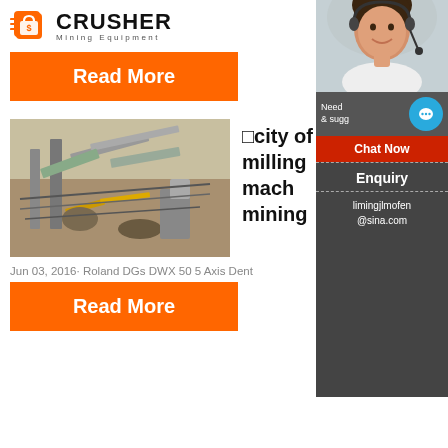[Figure (logo): Crusher Mining Equipment logo with orange shopping bag icon and bold CRUSHER text]
Read More
[Figure (photo): Aerial view of industrial mining/crushing equipment and conveyor belts at a mine site]
□city of milling machine mining
Jun 03, 2016· Roland DGs DWX 50 5 Axis Dent
Read More
[Figure (infographic): 24Hrs Online sidebar with customer service representative photo, chat now button, enquiry section, and email limingjlmofen@sina.com]